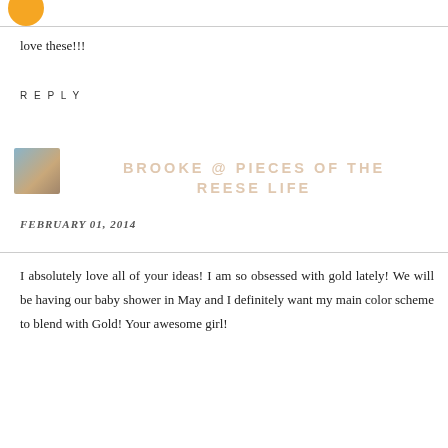[Figure (photo): Partial orange circle avatar image at top left]
love these!!!
REPLY
[Figure (photo): Small thumbnail photo of a couple]
BROOKE @ PIECES OF THE REESE LIFE
FEBRUARY 01, 2014
I absolutely love all of your ideas! I am so obsessed with gold lately! We will be having our baby shower in May and I definitely want my main color scheme to blend with Gold! Your awesome girl!